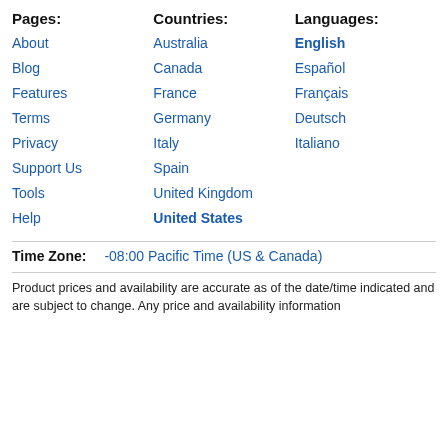Pages:
Countries:
Languages:
About
Australia
English
Blog
Canada
Español
Features
France
Français
Terms
Germany
Deutsch
Privacy
Italy
Italiano
Support Us
Spain
Tools
United Kingdom
Help
United States
Time Zone:    -08:00 Pacific Time (US & Canada)
Product prices and availability are accurate as of the date/time indicated and are subject to change. Any price and availability information